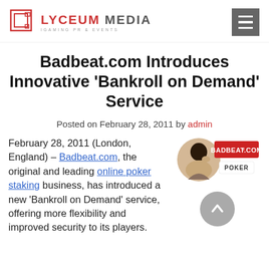LYCEUM MEDIA — IGAMING PR & EVENTS
Badbeat.com Introduces Innovative 'Bankroll on Demand' Service
Posted on February 28, 2011 by admin
February 28, 2011 (London, England) – Badbeat.com, the original and leading online poker staking business, has introduced a new 'Bankroll on Demand' service, offering more flexibility and improved security to its players.
[Figure (logo): Badbeat.com Poker logo badge with silhouette of person thinking and red banner with BADBEAT.COM text and POKER subtitle]